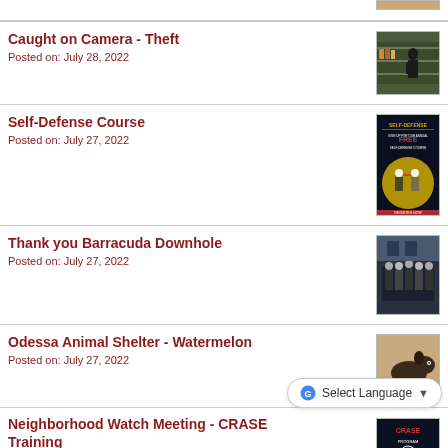[Figure (photo): Partial thumbnail visible at top of page]
Caught on Camera - Theft
Posted on: July 28, 2022
[Figure (photo): Security camera image of a person in a store aisle]
Self-Defense Course
Posted on: July 27, 2022
[Figure (photo): Self-Defense course flyer/poster with martial arts images]
Thank you Barracuda Downhole
Posted on: July 27, 2022
[Figure (photo): Group of police officers standing together]
Odessa Animal Shelter - Watermelon
Posted on: July 27, 2022
[Figure (photo): Dog at animal shelter]
Neighborhood Watch Meeting - CRASE Training
[Figure (photo): CRASE program thumbnail partially visible]